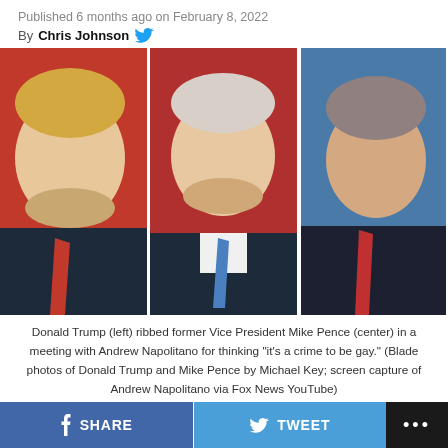Published 6 months ago on February 8, 2022
By Chris Johnson
[Figure (photo): Three-panel composite photo: Donald Trump (left) looking upward wearing a dark suit and red tie against a red background; Mike Pence (center) smiling in a dark suit with a blue tie; Andrew Napolitano (right) in a dark suit with a red tie, appearing to speak, with a blue background.]
Donald Trump (left) ribbed former Vice President Mike Pence (center) in a meeting with Andrew Napolitano for thinking "it's a crime to be gay." (Blade photos of Donald Trump and Mike Pence by Michael Key; screen capture of Andrew Napolitano via Fox News YouTube)